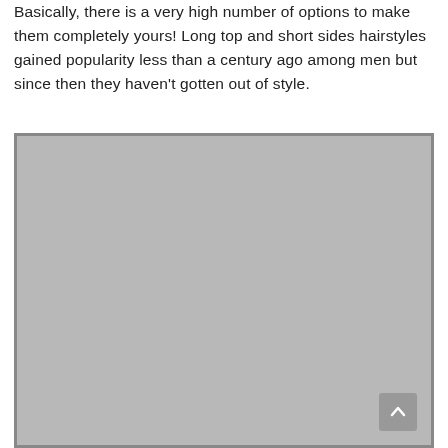Basically, there is a very high number of options to make them completely yours! Long top and short sides hairstyles gained popularity less than a century ago among men but since then they haven't gotten out of style.
[Figure (photo): A large placeholder image area with gray background and a darker gray border, with a scroll-to-top button in the bottom-right corner.]